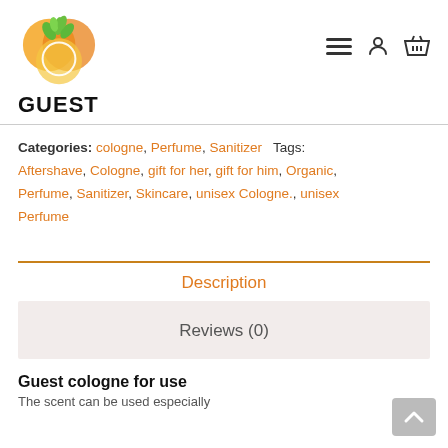[Figure (logo): Orange circular logo with green leaves, branded 'GUEST']
Categories: cologne, Perfume, Sanitizer  Tags: Aftershave, Cologne, gift for her, gift for him, Organic, Perfume, Sanitizer, Skincare, unisex Cologne., unisex Perfume
Description
Reviews (0)
Guest cologne for use
The scent can be used especially...